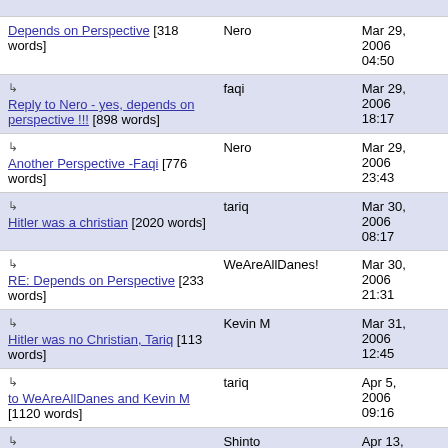| Title | Author | Date |
| --- | --- | --- |
| Depends on Perspective [318 words] | Nero | Mar 29, 2006 04:50 |
| ↳ Reply to Nero - yes, depends on perspective !!! [898 words] | faqi | Mar 29, 2006 18:17 |
| ↳ Another Perspective -Faqi [776 words] | Nero | Mar 29, 2006 23:43 |
| ↳ Hitler was a christian [2020 words] | tariq | Mar 30, 2006 08:17 |
| ↳ RE: Depends on Perspective [233 words] | WeAreAllDanes! | Mar 30, 2006 21:31 |
| ↳ Hitler was no Christian, Tariq [113 words] | Kevin M | Mar 31, 2006 12:45 |
| ↳ to WeAreAllDanes and Kevin M [1120 words] | tariq | Apr 5, 2006 09:16 |
| ↳ is that your only connection to christian intolerance? [381 words] | Shinto | Apr 13, 2006 06:02 |